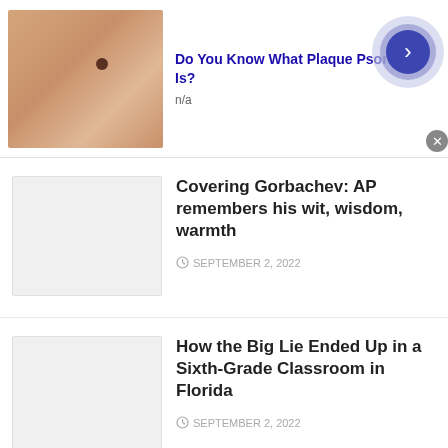[Figure (screenshot): Advertisement banner: skin/psoriasis related ad with image of skin and mole, title 'Do You Know What Plaque Psoriasis Is?', subtitle 'n/a', with blue arrow circle button and close X button]
Do You Know What Plaque Psoriasis Is?
n/a
[Figure (photo): Gray placeholder thumbnail for news article about Gorbachev]
Covering Gorbachev: AP remembers his wit, wisdom, warmth
SEPTEMBER 2, 2022
[Figure (photo): Gray placeholder thumbnail for news article about Big Lie]
How the Big Lie Ended Up in a Sixth-Grade Classroom in Florida
SEPTEMBER 2, 2022
Home > News
[Figure (screenshot): Advertisement banner: Food service industry company ad with restaurant supplies image, title 'Food service industry company', description 'Shop over 360,000+ restaurant supplies & equipment produc...', URL 'www.webstaurantstore.com', with blue arrow circle button and close X button]